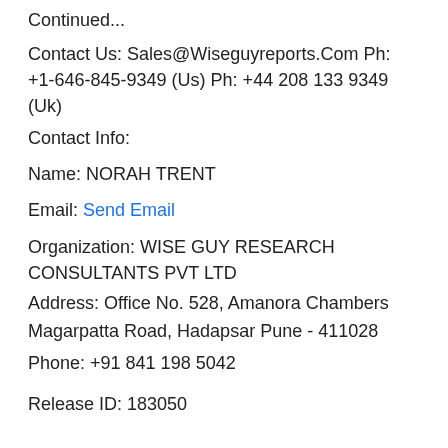Continued...
Contact Us: Sales@Wiseguyreports.Com Ph: +1-646-845-9349 (Us) Ph: +44 208 133 9349 (Uk)
Contact Info:
Name: NORAH TRENT
Email: Send Email
Organization: WISE GUY RESEARCH CONSULTANTS PVT LTD
Address: Office No. 528, Amanora Chambers
Magarpatta Road, Hadapsar Pune - 411028
Phone: +91 841 198 5042
Release ID: 183050